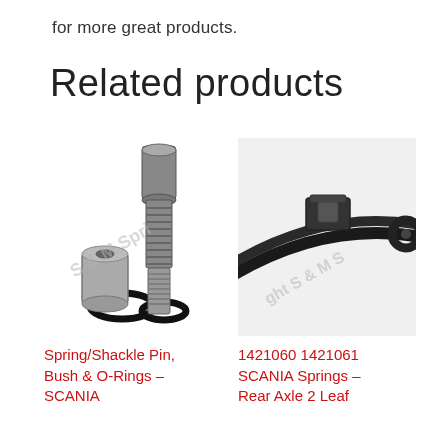for more great products.
Related products
[Figure (photo): Spring/Shackle Pin, Bush & O-Rings for SCANIA — threaded steel pin with corrugated middle section, a small cylindrical bush, and two black rubber O-rings, with a watermark 'S & M Springs']
[Figure (photo): 1421060 1421061 SCANIA Springs — Rear Axle 2 Leaf spring assembly shown from side angle, with watermark 'Copyright S & M S']
Spring/Shackle Pin, Bush & O-Rings – SCANIA
1421060 1421061 SCANIA Springs – Rear Axle 2 Leaf